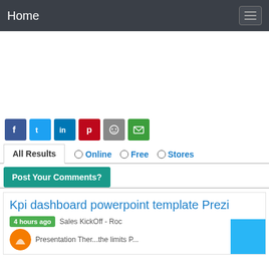Home
[Figure (infographic): Social share icon buttons: Facebook (blue), Twitter (light blue), LinkedIn (dark blue), Pinterest (red), Reddit (grey), Email (green)]
All Results   Online   Free   Stores
Post Your Comments?
Kpi dashboard powerpoint template Prezi
4 hours ago  Sales KickOff - Roc...
Presentation Ther...the limits P...